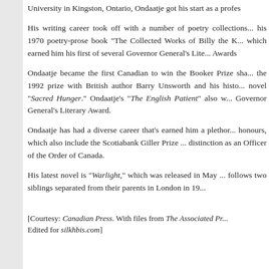University in Kingston, Ontario, Ondaatje got his start as a profes...
His writing career took off with a number of poetry collections... his 1970 poetry-prose book "The Collected Works of Billy the K... which earned him his first of several Governor General's Lite... Awards
Ondaatje became the first Canadian to win the Booker Prize sha... the 1992 prize with British author Barry Unsworth and his histo... novel "Sacred Hunger." Ondaatje's "The English Patient" also w... Governor General's Literary Award.
Ondaatje has had a diverse career that's earned him a plethor... honours, which also include the Scotiabank Giller Prize ... distinction as an Officer of the Order of Canada.
His latest novel is "Warlight," which was released in May ... follows two siblings separated from their parents in London in 19...
[Courtesy: Canadian Press. With files from The Associated Pr... Edited for silkhbis.com]